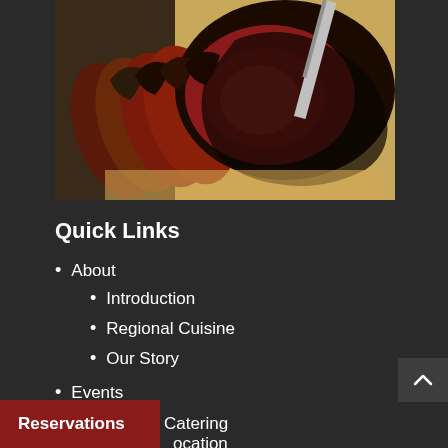[Figure (photo): Sliced roasted prime rib beef on a wooden cutting board with a knife, showing dark seasoned crust and red interior]
Quick Links
About
Introduction
Regional Cuisine
Our Story
Events
Banquets & Catering
Location
Reservations